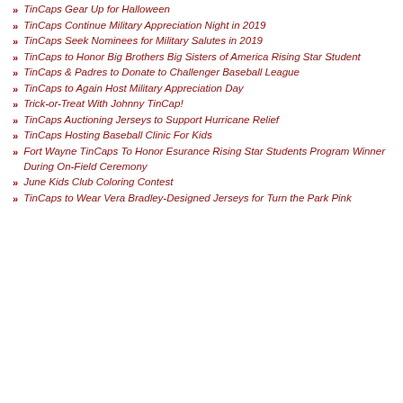TinCaps Gear Up for Halloween
TinCaps Continue Military Appreciation Night in 2019
TinCaps Seek Nominees for Military Salutes in 2019
TinCaps to Honor Big Brothers Big Sisters of America Rising Star Student
TinCaps & Padres to Donate to Challenger Baseball League
TinCaps to Again Host Military Appreciation Day
Trick-or-Treat With Johnny TinCap!
TinCaps Auctioning Jerseys to Support Hurricane Relief
TinCaps Hosting Baseball Clinic For Kids
Fort Wayne TinCaps To Honor Esurance Rising Star Students Program Winner During On-Field Ceremony
June Kids Club Coloring Contest
TinCaps to Wear Vera Bradley-Designed Jerseys for Turn the Park Pink